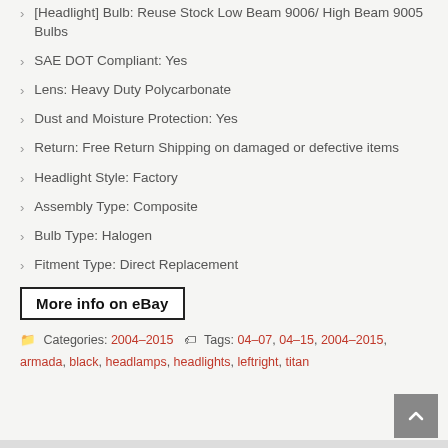[Headlight] Bulb: Reuse Stock Low Beam 9006/ High Beam 9005 Bulbs
SAE DOT Compliant: Yes
Lens: Heavy Duty Polycarbonate
Dust and Moisture Protection: Yes
Return: Free Return Shipping on damaged or defective items
Headlight Style: Factory
Assembly Type: Composite
Bulb Type: Halogen
Fitment Type: Direct Replacement
More info on eBay
Categories: 2004-2015   Tags: 04-07, 04-15, 2004-2015, armada, black, headlamps, headlights, leftright, titan